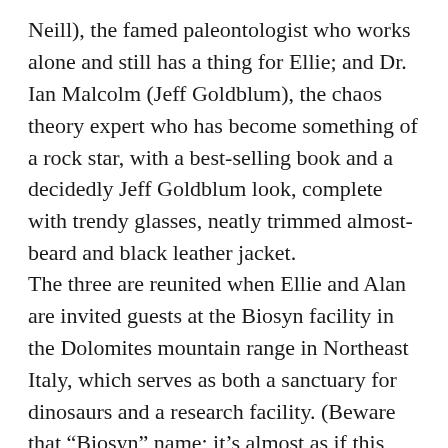Neill), the famed paleontologist who works alone and still has a thing for Ellie; and Dr. Ian Malcolm (Jeff Goldblum), the chaos theory expert who has become something of a rock star, with a best-selling book and a decidedly Jeff Goldblum look, complete with trendy glasses, neatly trimmed almost-beard and black leather jacket.
The three are reunited when Ellie and Alan are invited guests at the Biosyn facility in the Dolomites mountain range in Northeast Italy, which serves as both a sanctuary for dinosaurs and a research facility. (Beware that “Biosyn” name; it’s almost as if this company engages in BIOLOGICAL SINNING.) Malcolm has recently been hired as a consultant to Biosyn’s mercurial CEO, Dr. Lewis Dodgson (Campbell Scott), and we